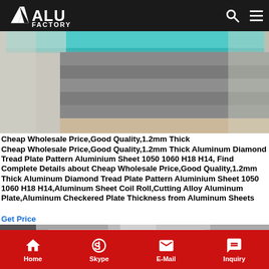ALU FACTORY
[Figure (photo): Photo of aluminum diamond tread plate sheets stacked, partially wrapped in plastic packaging, with a teal/blue sheet visible at top]
Cheap Wholesale Price,Good Quality,1.2mm Thick
Cheap Wholesale Price,Good Quality,1.2mm Thick Aluminum Diamond Tread Plate Pattern Aluminium Sheet 1050 1060 H18 H14, Find Complete Details about Cheap Wholesale Price,Good Quality,1.2mm Thick Aluminum Diamond Tread Plate Pattern Aluminium Sheet 1050 1060 H18 H14,Aluminum Sheet Coil Roll,Cutting Alloy Aluminum Plate,Aluminum Checkered Plate Thickness from Aluminum Sheets
Get Price
[Figure (photo): Close-up photo of a smooth shiny aluminum sheet surface with reflective metallic finish]
Home  Skype  E-Mail  Inquiry